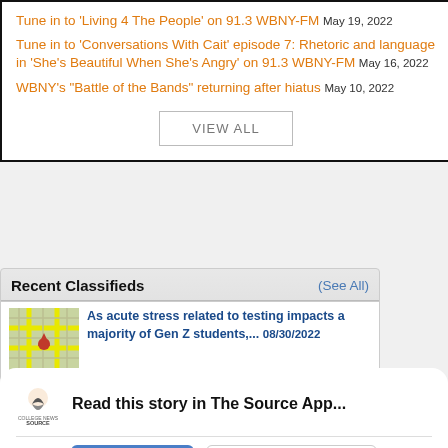Tune in to 'Living 4 The People' on 91.3 WBNY-FM May 19, 2022
Tune in to 'Conversations With Cait' episode 7: Rhetoric and language in 'She's Beautiful When She's Angry' on 91.3 WBNY-FM May 16, 2022
WBNY's "Battle of the Bands" returning after hiatus May 10, 2022
VIEW ALL
Recent Classifieds (See All)
As acute stress related to testing impacts a majority of Gen Z students,... 08/30/2022
Read this story in The Source App...
Open App  Continue in browser